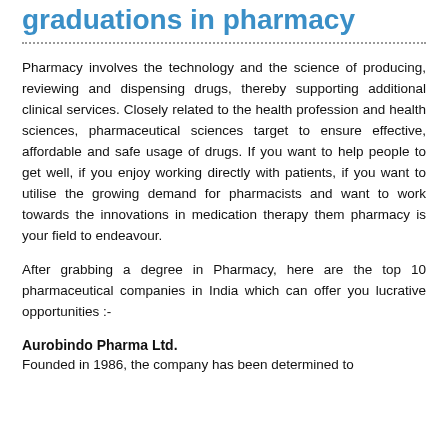graduations in pharmacy
Pharmacy involves the technology and the science of producing, reviewing and dispensing drugs, thereby supporting additional clinical services. Closely related to the health profession and health sciences, pharmaceutical sciences target to ensure effective, affordable and safe usage of drugs. If you want to help people to get well, if you enjoy working directly with patients, if you want to utilise the growing demand for pharmacists and want to work towards the innovations in medication therapy them pharmacy is your field to endeavour.
After grabbing a degree in Pharmacy, here are the top 10 pharmaceutical companies in India which can offer you lucrative opportunities :-
Aurobindo Pharma Ltd.
Founded in 1986, the company has been determined to